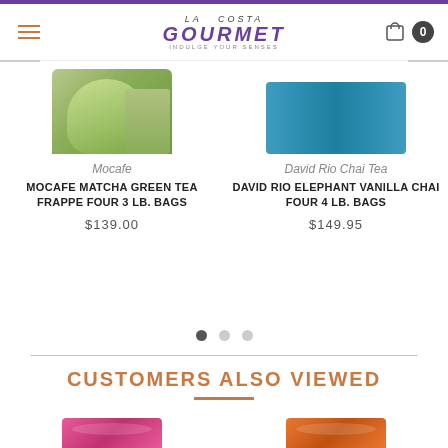La Costa Gourmet - Indulge Your Senses
[Figure (photo): Product image of Mocafe Matcha Green Tea Frappe - green cup and bag]
Mocafe
MOCAFE MATCHA GREEN TEA FRAPPE FOUR 3 LB. BAGS
$139.00
[Figure (photo): Product image of David Rio Elephant Vanilla Chai - blue bag]
David Rio Chai Tea
DAVID RIO ELEPHANT VANILLA CHAI FOUR 4 LB. BAGS
$149.95
CUSTOMERS ALSO VIEWED
[Figure (photo): Bottom product - pink David Rio bag]
[Figure (photo): Bottom product - orange David Rio bag]